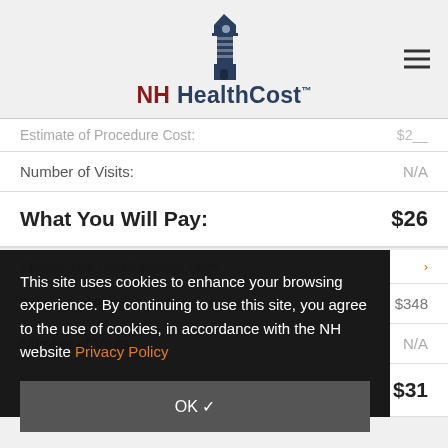[Figure (logo): NH HealthCost lighthouse logo with text]
Estimate of Procedure Cost:  $2__
|  |  |
| --- | --- |
| Number of Visits: | N/A |
| What You Will Pay: | $26 |
Change Your Plan/Coverage Level >
|  |  |
| --- | --- |
| Estimate of Procedure Cost: | $348 |
| Number of Visits: | N/A |
| What You Will Pay: | $31 |
This site uses cookies to enhance your browsing experience. By continuing to use this site, you agree to the use of cookies, in accordance with the NH website Privacy Policy
OK ✓